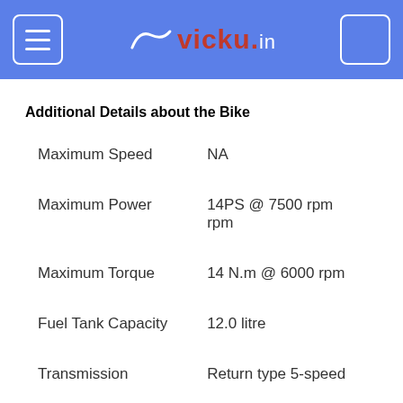vicky.in
Additional Details about the Bike
|  |  |
| --- | --- |
| Maximum Speed | NA |
| Maximum Power | 14PS @ 7500 rpm rpm |
| Maximum Torque | 14 N.m @ 6000 rpm |
| Fuel Tank Capacity | 12.0 litre |
| Transmission | Return type 5-speed |